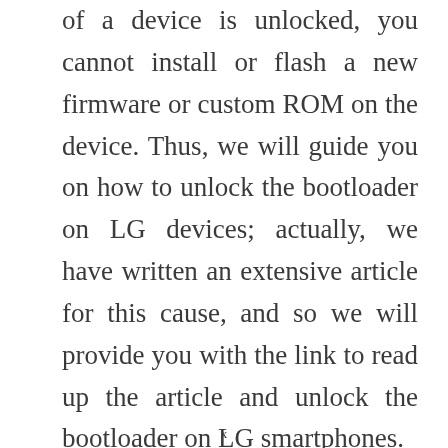of a device is unlocked, you cannot install or flash a new firmware or custom ROM on the device. Thus, we will guide you on how to unlock the bootloader on LG devices; actually, we have written an extensive article for this cause, and so we will provide you with the link to read up the article and unlock the bootloader on LG smartphones.
x